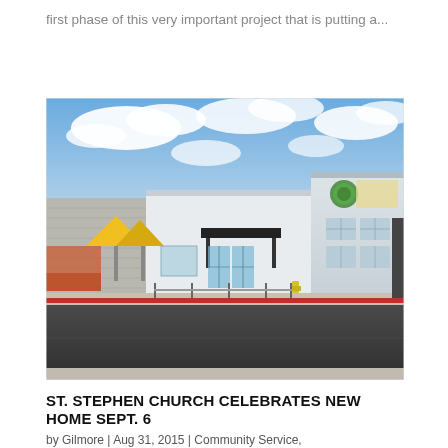first phase of this very important project that is putting a...
[Figure (photo): Exterior photo of a modern single-story building with large glass entrance doors, a yellow canopy tent on the left, a yellow fire hydrant, red curb striping, and a cloudy blue sky. The building has a green circular logo/sign on the upper right facade.]
ST. STEPHEN CHURCH CELEBRATES NEW HOME SEPT. 6
by Gilmore | Aug 31, 2015 | Community Service,